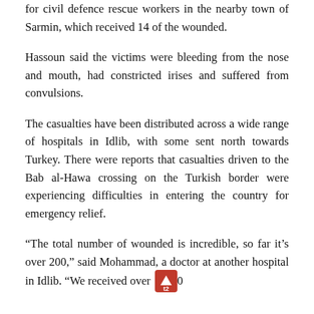for civil defence rescue workers in the nearby town of Sarmin, which received 14 of the wounded.
Hassoun said the victims were bleeding from the nose and mouth, had constricted irises and suffered from convulsions.
The casualties have been distributed across a wide range of hospitals in Idlib, with some sent north towards Turkey. There were reports that casualties driven to the Bab al-Hawa crossing on the Turkish border were experiencing difficulties in entering the country for emergency relief.
“The total number of wounded is incredible, so far it’s over 200,” said Mohammad, a doctor at another hospital in Idlib. “We received over 120